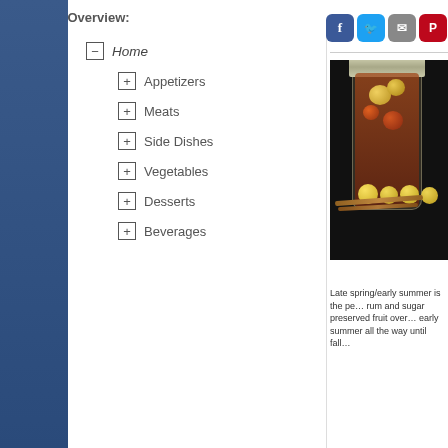Recipes Overview:
Home
Appetizers
Meats
Side Dishes
Vegetables
Desserts
Beverages
[Figure (photo): Social media share buttons: Facebook (blue), Twitter (light blue), Email (gray), Pinterest (red), and a plus button (orange-red)]
[Figure (photo): A glass mason jar with a silver lid filled with rum and sugar preserved fruits, shown on a dark background with yellow-green fruits (gooseberries or similar) and wooden sticks in the foreground]
Late spring/early summer is the pe... rum and sugar preserved fruit over... early summer all the way until fall...